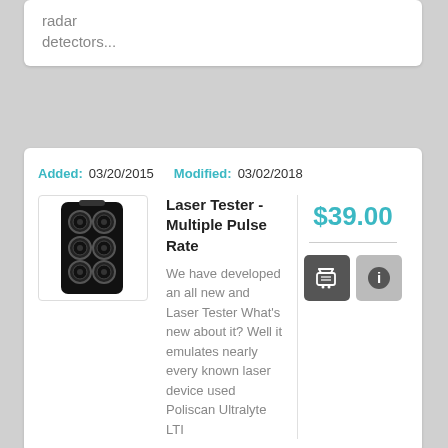radar detectors...
Added: 03/20/2015  Modified: 03/02/2018
[Figure (photo): Product photo of Laser Tester - Multiple Pulse Rate device, black rectangular hardware with circular lens ports]
Laser Tester - Multiple Pulse Rate
We have developed an all new and Laser Tester What's new about it? Well it emulates nearly every known laser device used Poliscan Ultralyte LTI
$39.00